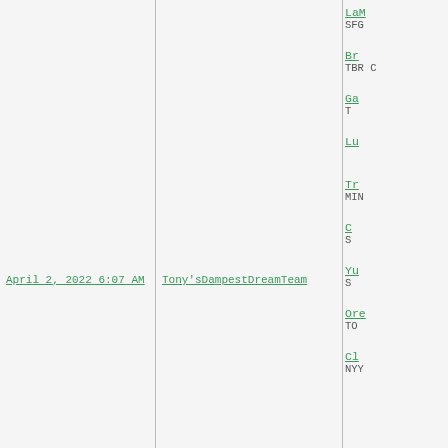April 2, 2022 6:07 AM
Tony'sDampestDreamTeam
LaM
SFG
Br
TBR C
Ga
T
Lu
Tr
MIN
C
S
Yu
S
Ore
TO
Cl
NYY